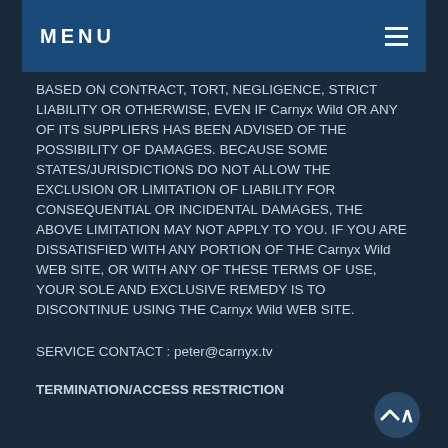MENU
BASED ON CONTRACT, TORT, NEGLIGENCE, STRICT LIABILITY OR OTHERWISE, EVEN IF Carnyx Wild OR ANY OF ITS SUPPLIERS HAS BEEN ADVISED OF THE POSSIBILITY OF DAMAGES. BECAUSE SOME STATES/JURISDICTIONS DO NOT ALLOW THE EXCLUSION OR LIMITATION OF LIABILITY FOR CONSEQUENTIAL OR INCIDENTAL DAMAGES, THE ABOVE LIMITATION MAY NOT APPLY TO YOU. IF YOU ARE DISSATISFIED WITH ANY PORTION OF THE Carnyx Wild WEB SITE, OR WITH ANY OF THESE TERMS OF USE, YOUR SOLE AND EXCLUSIVE REMEDY IS TO DISCONTINUE USING THE Carnyx Wild WEB SITE.
SERVICE CONTACT : peter@carnyx.tv
TERMINATION/ACCESS RESTRICTION